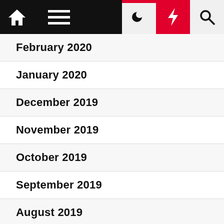Navigation bar with home, menu, moon, bolt, search icons
February 2020
January 2020
December 2019
November 2019
October 2019
September 2019
August 2019
July 2019
June 2019
May 2019